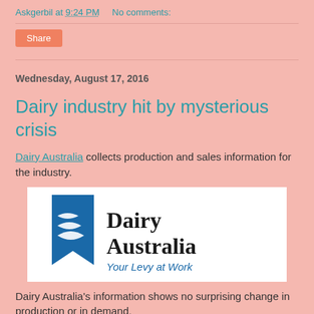Askgerbil at 9:24 PM    No comments:
Share
Wednesday, August 17, 2016
Dairy industry hit by mysterious crisis
Dairy Australia collects production and sales information for the industry.
[Figure (logo): Dairy Australia logo — blue bookmark ribbon with wave lines, text 'Dairy Australia' in bold black serif, tagline 'Your Levy at Work' in blue italic]
Dairy Australia's information shows no surprising change in production or in demand.
Among the noteworthy changes are: